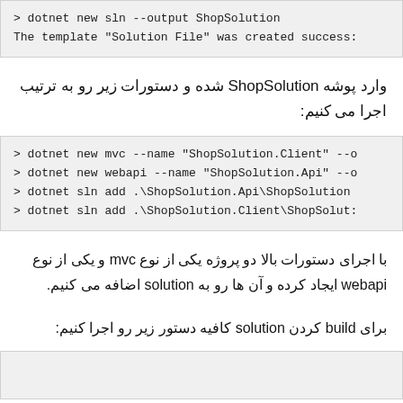> dotnet new sln --output ShopSolution
The template "Solution File" was created success:
وارد پوشه ShopSolution شده و دستورات زیر رو به ترتیب اجرا می کنیم:
> dotnet new mvc --name "ShopSolution.Client" --o
> dotnet new webapi --name "ShopSolution.Api" --o
> dotnet sln add .\ShopSolution.Api\ShopSolution
> dotnet sln add .\ShopSolution.Client\ShopSolut:
با اجرای دستورات بالا دو پروژه یکی از نوع mvc و یکی از نوع webapi ایجاد کرده و آن ها رو به solution اضافه می کنیم.
برای build کردن solution کافیه دستور زیر رو اجرا کنیم: